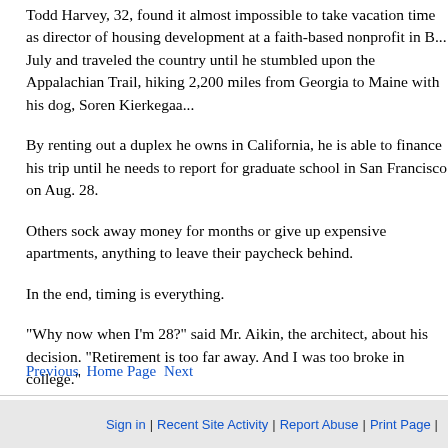Todd Harvey, 32, found it almost impossible to take vacation time as director of housing development at a faith-based nonprofit in B... July and traveled the country until he stumbled upon the Appalachian Trail, hiking 2,200 miles from Georgia to Maine with his dog, Soren Kierkegaa...
By renting out a duplex he owns in California, he is able to finance his trip until he needs to report for graduate school in San Francisco on Aug. 28.
Others sock away money for months or give up expensive apartments, anything to leave their paycheck behind.
In the end, timing is everything.
"Why now when I'm 28?" said Mr. Aikin, the architect, about his decision. "Retirement is too far away. And I was too broke in college."
Previous Home Page Next
Sign in | Recent Site Activity | Report Abuse | Print Page |